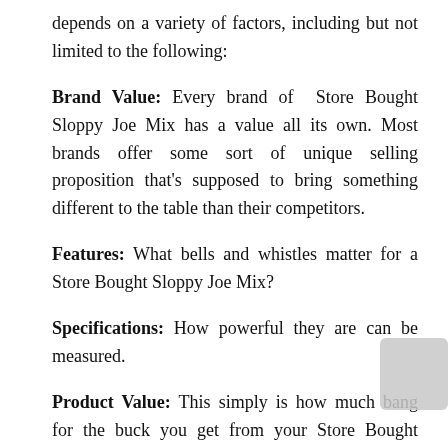depends on a variety of factors, including but not limited to the following:
Brand Value: Every brand of Store Bought Sloppy Joe Mix has a value all its own. Most brands offer some sort of unique selling proposition that's supposed to bring something different to the table than their competitors.
Features: What bells and whistles matter for a Store Bought Sloppy Joe Mix?
Specifications: How powerful they are can be measured.
Product Value: This simply is how much bang for the buck you get from your Store Bought Sloppy Joe Mix.